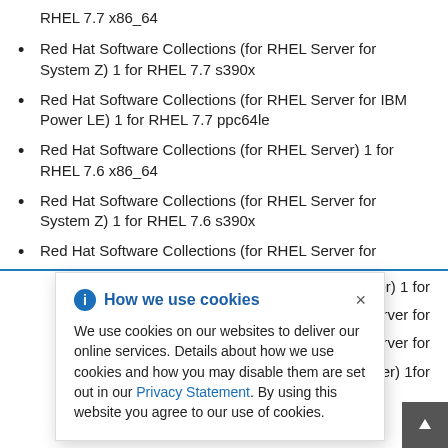RHEL 7.7 x86_64
Red Hat Software Collections (for RHEL Server for System Z) 1 for RHEL 7.7 s390x
Red Hat Software Collections (for RHEL Server for IBM Power LE) 1 for RHEL 7.7 ppc64le
Red Hat Software Collections (for RHEL Server) 1 for RHEL 7.6 x86_64
Red Hat Software Collections (for RHEL Server for System Z) 1 for RHEL 7.6 s390x
Red Hat Software Collections (for RHEL Server for
[Figure (screenshot): Cookie consent modal dialog with info icon, title 'How we use cookies', close button (×), and body text about cookie usage with a Privacy Statement link.]
…Server) 1 for
…Server for
…Server for
…Server) 1for
RHEL 7.4 x86_64